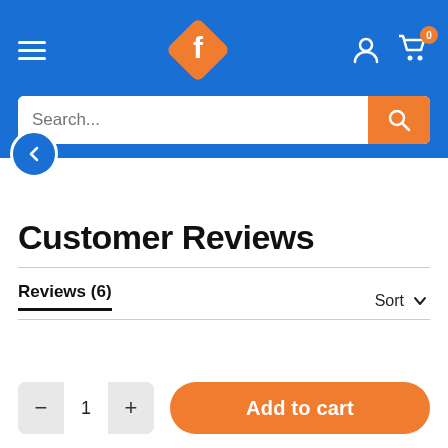[Figure (screenshot): E-commerce website header with blue background, hamburger menu on left, orange diamond-shaped logo with letter f in center, user icon and cart icon with badge showing 0 on right, and a search bar below with orange search button]
Customer Reviews
Reviews (6)
Sort
[Figure (screenshot): Quantity selector showing minus button, 1, plus button and orange Add to cart button]